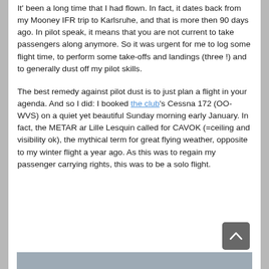It' been a long time that I had flown. In fact, it dates back from my Mooney IFR trip to Karlsruhe, and that is more then 90 days ago. In pilot speak, it means that you are not current to take passengers along anymore. So it was urgent for me to log some flight time, to perform some take-offs and landings (three !) and to generally dust off my pilot skills.
The best remedy against pilot dust is to just plan a flight in your agenda. And so I did: I booked the club's Cessna 172 (OO-WVS) on a quiet yet beautiful Sunday morning early January. In fact, the METAR ar Lille Lesquin called for CAVOK (=ceiling and visibility ok), the mythical term for great flying weather, opposite to my winter flight a year ago. As this was to regain my passenger carrying rights, this was to be a solo flight.
[Figure (photo): Partial view of a photo at the bottom of the page, mostly grey/overcast sky or airfield scene]